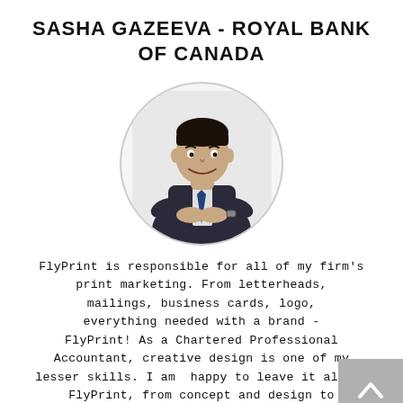SASHA GAZEEVA - ROYAL BANK OF CANADA
[Figure (photo): Circular portrait photo of a man in a dark suit with arms crossed, smiling, professional headshot]
FlyPrint is responsible for all of my firm's print marketing. From letterheads, mailings, business cards, logo, everything needed with a brand - FlyPrint! As a Chartered Professional Accountant, creative design is one of my lesser skills. I am happy to leave it all to FlyPrint, from concept and design to implementation. As a result, I have time...